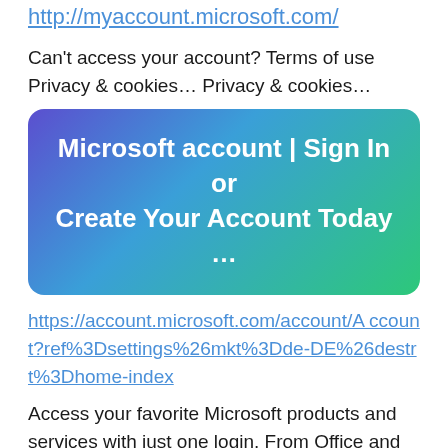http://myaccount.microsoft.com/
Can't access your account? Terms of use Privacy & cookies… Privacy & cookies…
[Figure (other): Banner button with gradient background (purple to green) showing text: Microsoft account | Sign In or Create Your Account Today …]
https://account.microsoft.com/account/Account?ref%3Dsettings%26mkt%3Dde-DE%26destrt%3Dhome-index
Access your favorite Microsoft products and services with just one login. From Office and Windows to Xbox and Skype, one username and password connects you to the files, photos,